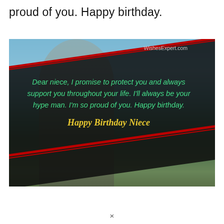proud of you. Happy birthday.
[Figure (photo): A birthday greeting card image showing a person (child/young girl) with a large dark tilted rectangular overlay containing text. The overlay has red border lines. Background shows an outdoor scene with sky and grass. Watermark reads WishesExpert.com. Card text reads: Dear niece, I promise to protect you and always support you throughout your life. I'll always be your hype man. I'm so proud of you. Happy birthday. Happy Birthday Niece]
×